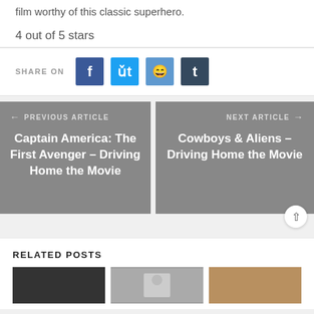film worthy of this classic superhero.
4 out of 5 stars
SHARE ON
← PREVIOUS ARTICLE
Captain America: The First Avenger – Driving Home the Movie
NEXT ARTICLE →
Cowboys & Aliens – Driving Home the Movie
RELATED POSTS